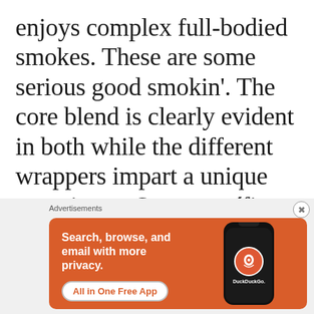enjoys complex full-bodied smokes. These are some serious good smokin'. The core blend is clearly evident in both while the different wrappers impart a unique experience. Son magníficas y deliciosos!
[Figure (screenshot): DuckDuckGo advertisement banner with orange background showing 'Search, browse, and email with more privacy. All in One Free App' text with a phone mockup showing the DuckDuckGo logo]